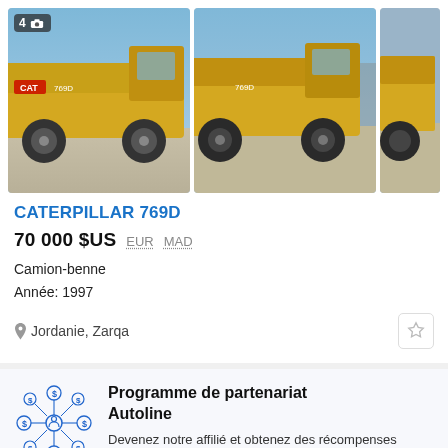[Figure (photo): Three photos of a Caterpillar 769D dump truck (camion-benne) in a yard. First photo has a badge showing 4 with camera icon. Three images arranged in a row.]
CATERPILLAR 769D
70 000 $US  EUR  MAD
Camion-benne
Année: 1997
Jordanie, Zarqa
[Figure (illustration): Autoline partnership program network icon: people connected by lines in a circular arrangement with dollar signs, drawn in blue outline style.]
Programme de partenariat Autoline
Devenez notre affilié et obtenez des récompenses pour chaque client amené sur le site